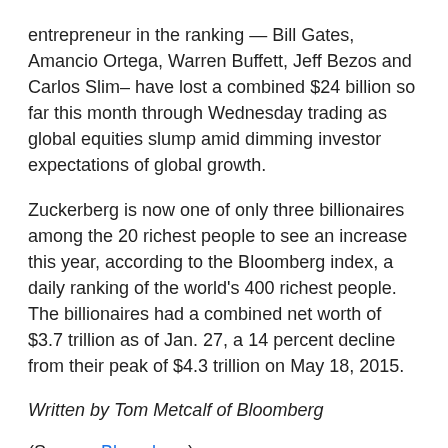entrepreneur in the ranking — Bill Gates, Amancio Ortega, Warren Buffett, Jeff Bezos and Carlos Slim– have lost a combined $24 billion so far this month through Wednesday trading as global equities slump amid dimming investor expectations of global growth.
Zuckerberg is now one of only three billionaires among the 20 richest people to see an increase this year, according to the Bloomberg index, a daily ranking of the world's 400 richest people. The billionaires had a combined net worth of $3.7 trillion as of Jan. 27, a 14 percent decline from their peak of $4.3 trillion on May 18, 2015.
Written by Tom Metcalf of Bloomberg
(Source: Bloomberg)